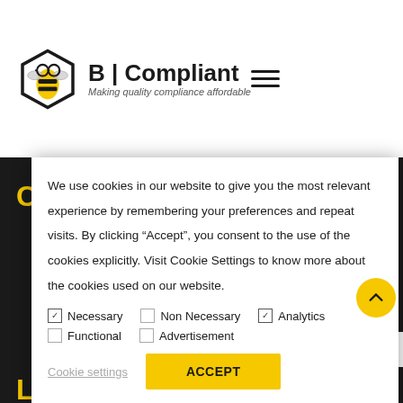[Figure (logo): B | Compliant logo with bee mascot wearing glasses. Text reads 'B | Compliant' in bold and 'Making quality compliance affordable' in italic below.]
We use cookies in our website to give you the most relevant experience by remembering your preferences and repeat visits. By clicking “Accept”, you consent to the use of the cookies explicitly. Visit Cookie Settings to know more about the cookies used on our website.
☑ Necessary   □ Non Necessary   ☑ Analytics
□ Functional   □ Advertisement
Cookie settings   ACCEPT